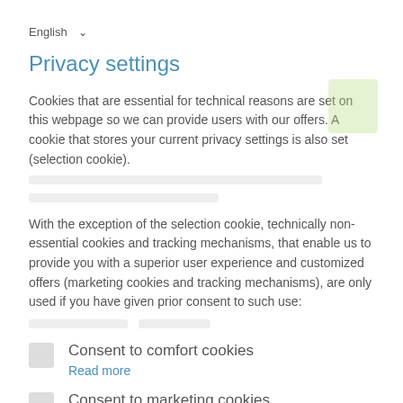English
Privacy settings
Cookies that are essential for technical reasons are set on this webpage so we can provide users with our offers. A cookie that stores your current privacy settings is also set (selection cookie).
With the exception of the selection cookie, technically non-essential cookies and tracking mechanisms, that enable us to provide you with a superior user experience and customized offers (marketing cookies and tracking mechanisms), are only used if you have given prior consent to such use:
Consent to comfort cookies
Read more
Consent to marketing cookies
Read more